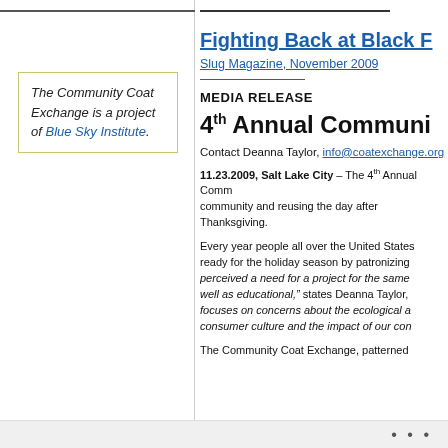The Community Coat Exchange is a project of Blue Sky Institute.
Fighting Back at Black F...
Slug Magazine, November 2009
MEDIA RELEASE
4th Annual Communi...
Contact Deanna Taylor, info@coatexchange.org or 8...
11.23.2009, Salt Lake City – The 4th Annual Comm... community and reusing the day after Thanksgiving.
Every year people all over the United States... ready for the holiday season by patronizing... perceived a need for a project for the same... well as educational," states Deanna Taylor,... focuses on concerns about the ecological a... consumer culture and the impact of our con...
The Community Coat Exchange, patterned...
• • •